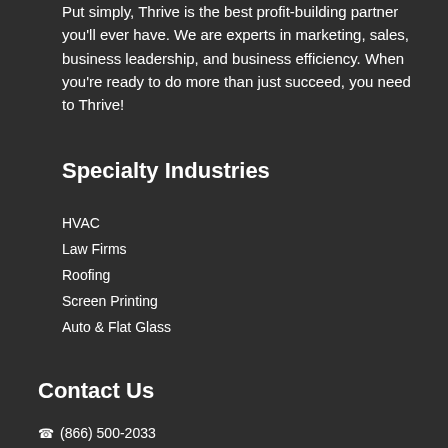Put simply, Thrive is the best profit-building partner you'll ever have. We are experts in marketing, sales, business leadership, and business efficiency. When you're ready to do more than just succeed, you need to Thrive!
Specialty Industries
HVAC
Law Firms
Roofing
Screen Printing
Auto & Flat Glass
Contact Us
(866) 500-2033